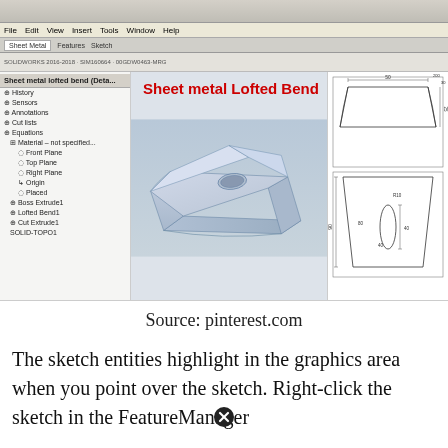[Figure (screenshot): SolidWorks CAD software screenshot showing Sheet metal Lofted Bend feature. Left panel shows a feature tree. Center shows a 3D model of a sheet metal lofted bend part (triangular shape with oval cutout). Right panel shows 2D engineering drawings with dimensions (200, 30, 50, 40, 80, 90, R10). Title text in red reads 'Sheet metal Lofted Bend'. Bottom status bar shows SolidWorks Premium 2016 edition.]
Source: pinterest.com
The sketch entities highlight in the graphics area when you point over the sketch. Right-click the sketch in the FeatureManager